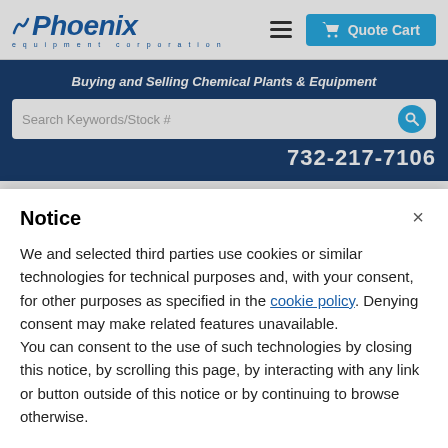[Figure (logo): Phoenix Equipment Corporation logo — blue italic text with stylized bird icon, subtitle 'equipment corporation' in spaced blue letters]
[Figure (other): Hamburger menu icon (three horizontal lines)]
[Figure (other): Quote Cart button — light blue button with shopping cart icon]
Buying and Selling Chemical Plants & Equipment
Search Keywords/Stock #
732-217-7106
National Board #22. Serial #06D058-H1503A. Built 2008.
Notice
We and selected third parties use cookies or similar technologies for technical purposes and, with your consent, for other purposes as specified in the cookie policy. Denying consent may make related features unavailable.
You can consent to the use of such technologies by closing this notice, by scrolling this page, by interacting with any link or button outside of this notice or by continuing to browse otherwise.